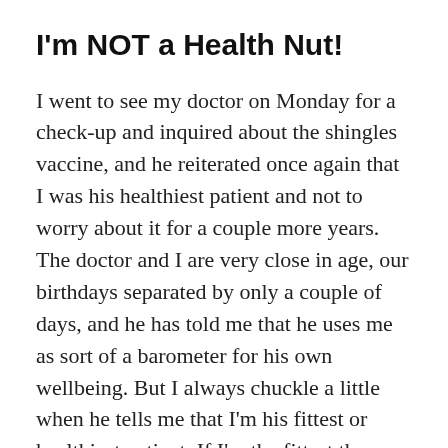I'm NOT a Health Nut!
I went to see my doctor on Monday for a check-up and inquired about the shingles vaccine, and he reiterated once again that I was his healthiest patient and not to worry about it for a couple more years.  The doctor and I are very close in age, our birthdays separated by only a couple of days, and he has told me that he uses me as sort of a barometer for his own wellbeing.  But I always chuckle a little when he tells me that I’m his fittest or healthiest patient.  If I’m the fittest the others must be really bad off.  Isn’t he looking at the same body that I see in the mirror?  Maybe those